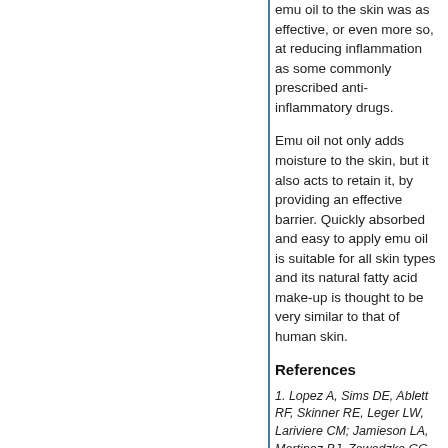emu oil to the skin was as effective, or even more so, at reducing inflammation as some commonly prescribed anti-inflammatory drugs.
Emu oil not only adds moisture to the skin, but it also acts to retain it, by providing an effective barrier. Quickly absorbed and easy to apply emu oil is suitable for all skin types and its natural fatty acid make-up is thought to be very similar to that of human skin.
References
1. Lopez A, Sims DE, Ablett RF, Skinner RE, Leger LW, Lariviere CM; Jamieson LA, Martinez BJ, Zawadzka GG Effect of emu oil on auricular inflammation induced with croton oil in mice. Am J Vet Res. Dec;1999;60 (12):1558-1561
2. Whitehouse MW, Turner AG, Davis CKC, Roberts MS Emu Oil(s): A source of non-